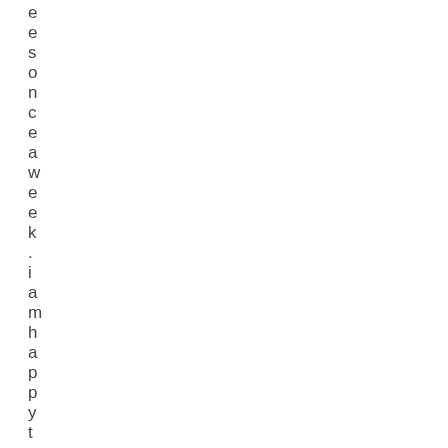e
e
s
o
n
c
e
a
w
e
e
k
.
i
a
m
h
a
p
p
y
t
o
s
e
e
t
h